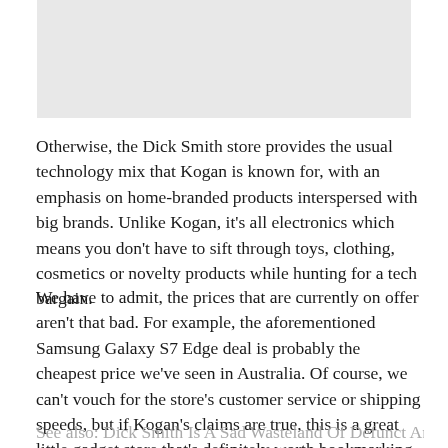[Figure (photo): Gray placeholder image rectangle at the top of the page]
Otherwise, the Dick Smith store provides the usual technology mix that Kogan is known for, with an emphasis on home-branded products interspersed with big brands. Unlike Kogan, it’s all electronics which means you don’t have to sift through toys, clothing, cosmetics or novelty products while hunting for a tech bargain.
We have to admit, the prices that are currently on offer aren’t that bad. For example, the aforementioned Samsung Galaxy S7 Edge deal is probably the cheapest price we’ve seen in Australia. Of course, we can’t vouch for the store’s customer service or shipping speeds, but if Kogan’s claims are true, this is a great little gadget store that’s definitely worth bookmarking.
See also: Dick Smith Is A Sad Wasteland Of Defunct And…